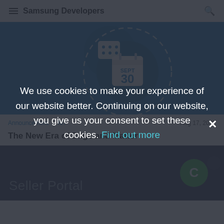Samsung Developers
[Figure (illustration): Blue banner with calendar icon showing SEPT 30 and IoT-related icons]
Announcement | IoT   Aug 17, 2022
The New Era of Edge and Matter
We use cookies to make your experience of our website better. Continuing on our website, you give us your consent to set these cookies. Find out more
[Figure (screenshot): Dark blue Seller Portal section with Samsung C logo]